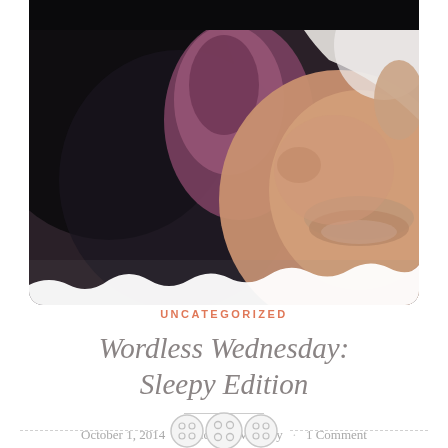[Figure (photo): Close-up photograph of a sleeping baby or person, showing dark fabric/background on left, purple/mauve fabric in center, and skin tones (cheek and lips area) on right with white fabric in upper right corner.]
UNCATEGORIZED
Wordless Wednesday: Sleepy Edition
October 1, 2014 · Michelle Maskaly · 1 Comment